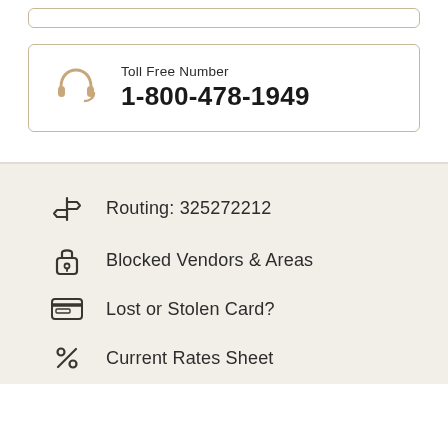[Figure (other): Bordered box top strip (partial)]
Toll Free Number
1-800-478-1949
Routing: 325272212
Blocked Vendors & Areas
Lost or Stolen Card?
Current Rates Sheet